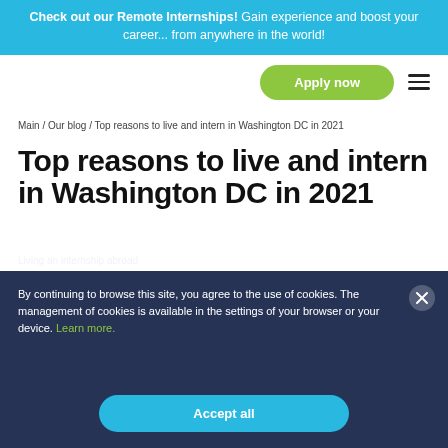Check out our Remote Internships! Gain experience and boost your career... from anywhere in the world!
Apply now
Main / Our blog / Top reasons to live and intern in Washington DC in 2021
Top reasons to live and intern in Washington DC in 2021
By continuing to browse this site, you agree to the use of cookies. The management of cookies is available in the settings of your browser or your device. Learn more.